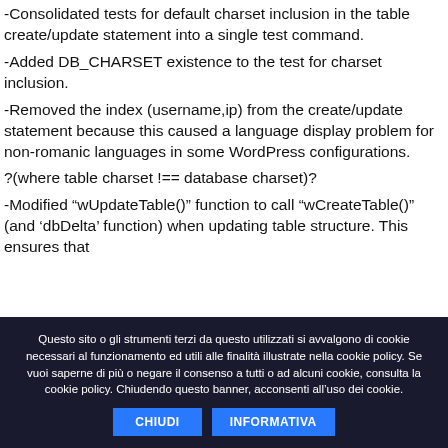-Consolidated tests for default charset inclusion in the table create/update statement into a single test command.
-Added DB_CHARSET existence to the test for charset inclusion.
-Removed the index (username,ip) from the create/update statement because this caused a language display problem for non-romanic languages in some WordPress configurations.
?(where table charset !== database charset)?
-Modified “wUpdateTable()” function to call “wCreateTable()” (and ‘dbDelta’ function) when updating table structure. This ensures that
Questo sito o gli strumenti terzi da questo utilizzati si avvalgono di cookie necessari al funzionamento ed utili alle finalità illustrate nella cookie policy. Se vuoi saperne di più o negare il consenso a tutti o ad alcuni cookie, consulta la cookie policy. Chiudendo questo banner, acconsenti all’uso dei cookie.